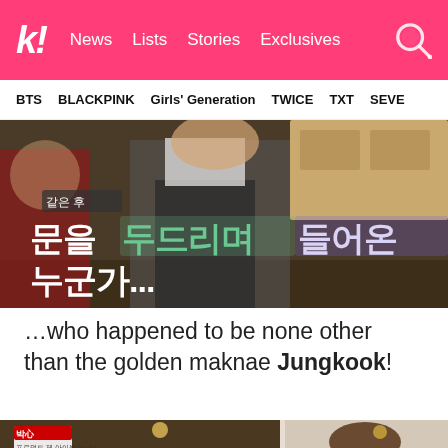k! News Lists Stories Exclusives
BTS BLACKPINK Girls' Generation TWICE TXT SEVE
[Figure (screenshot): TV show screenshot with Korean text overlay reading '문을 두드리며 들어온 누군가...' showing two people in a kitchen/restaurant setting]
…who happened to be none other than the golden maknae Jungkook!
[Figure (screenshot): TV show screenshot showing a group of people in a restaurant kitchen, with an inset photo of a young man (Jungkook) in a white outfit]